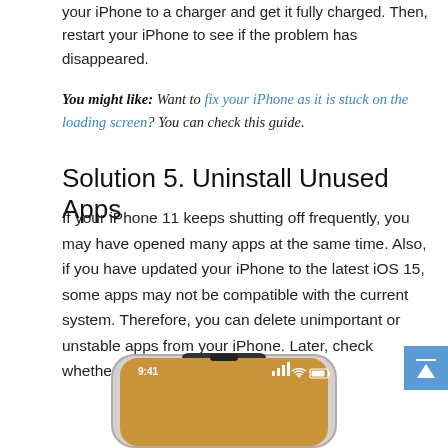your iPhone to a charger and get it fully charged. Then, restart your iPhone to see if the problem has disappeared.
You might like: Want to fix your iPhone as it is stuck on the loading screen? You can check this guide.
Solution 5. Uninstall Unused Apps
If your iPhone 11 keeps shutting off frequently, you may have opened many apps at the same time. Also, if you have updated your iPhone to the latest iOS 15, some apps may not be compatible with the current system. Therefore, you can delete unimportant or unstable apps from your iPhone. Later, check whether your iPhone functions normally.
[Figure (photo): Top portion of an iPhone showing the status bar with time 9:41, signal bars, WiFi and battery icons, and the iPhone notch on a warm amber/gold home screen background.]